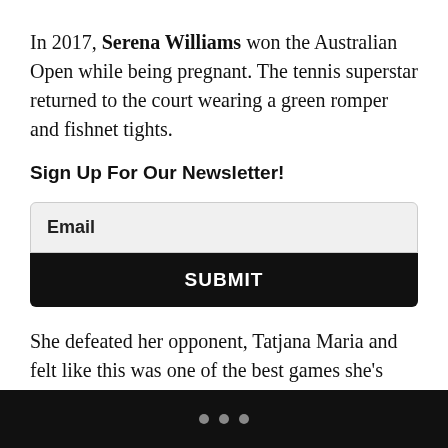In 2017, Serena Williams won the Australian Open while being pregnant. The tennis superstar returned to the court wearing a green romper and fishnet tights.
Sign Up For Our Newsletter!
Email
SUBMIT
She defeated her opponent, Tatjana Maria and felt like this was one of the best games she's ever played in life.
• • •